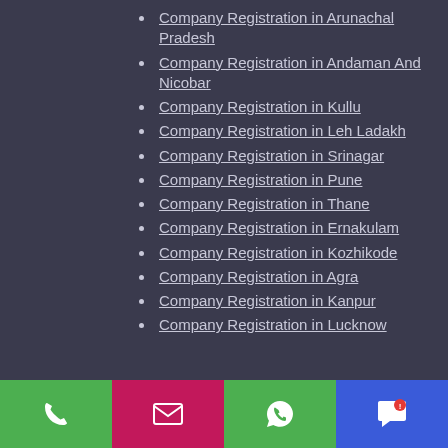Company Registration in Arunachal Pradesh
Company Registration in Andaman And Nicobar
Company Registration in Kullu
Company Registration in Leh Ladakh
Company Registration in Srinagar
Company Registration in Pune
Company Registration in Thane
Company Registration in Ernakulam
Company Registration in Kozhikode
Company Registration in Agra
Company Registration in Kanpur
Company Registration in Lucknow
Phone | Email | WhatsApp | Chat